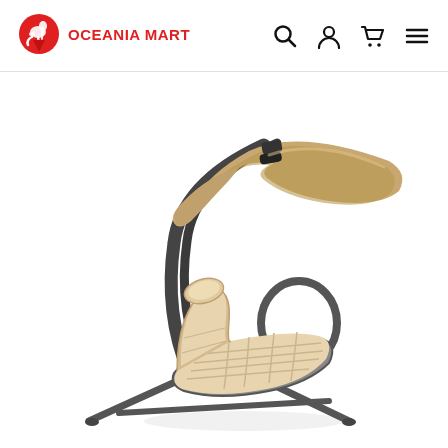OCEANIA MART
[Figure (photo): Outdoor lounge chair with cushioned seat and adjustable canopy umbrella, beige/tan color with dark metal frame, on a white background. Product listing image for Oceania Mart e-commerce site.]